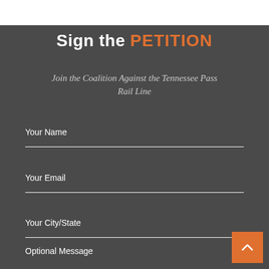Sign the PETITION
Join the Coalition Against the Tennessee Pass Rail Line
Your Name
Your Email
Your City/State
Optional Message